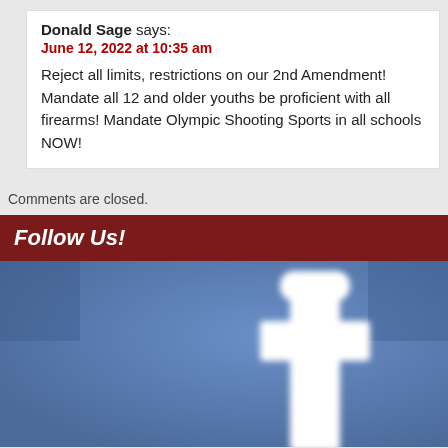Donald Sage says: June 12, 2022 at 10:35 am — Reject all limits, restrictions on our 2nd Amendment! Mandate all 12 and older youths be proficient with all firearms! Mandate Olympic Shooting Sports in all schools NOW!
Comments are closed.
Follow Us!
[Figure (photo): Facebook logo — white 'f' letter on a blue background, large and slightly blurred/zoomed in]